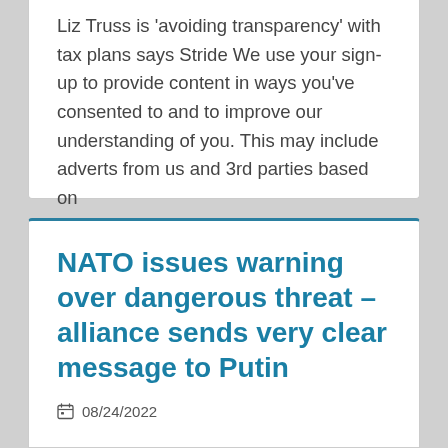Liz Truss is 'avoiding transparency' with tax plans says Stride We use your sign-up to provide content in ways you've consented to and to improve our understanding of you. This may include adverts from us and 3rd parties based on
NATO issues warning over dangerous threat – alliance sends very clear message to Putin
08/24/2022